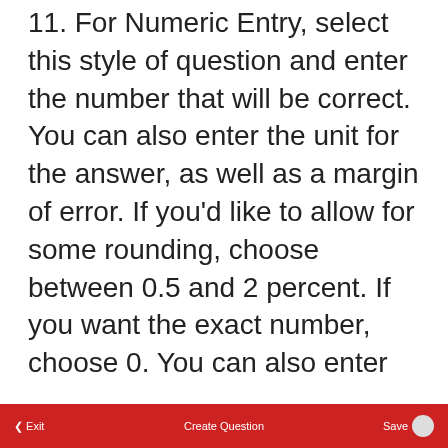11. For Numeric Entry, select this style of question and enter the number that will be correct. You can also enter the unit for the answer, as well as a margin of error. If you'd like to allow for some rounding, choose between 0.5 and 2 percent. If you want the exact number, choose 0. You can also enter common incorrect answers and provide feedback for these numbers.
Exit   Create Question   Save